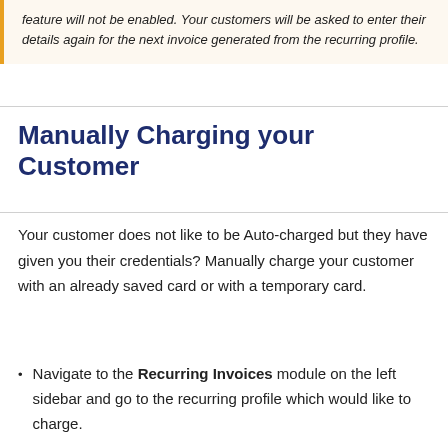feature will not be enabled. Your customers will be asked to enter their details again for the next invoice generated from the recurring profile.
Manually Charging your Customer
Your customer does not like to be Auto-charged but they have given you their credentials? Manually charge your customer with an already saved card or with a temporary card.
Navigate to the Recurring Invoices module on the left sidebar and go to the recurring profile which would like to charge.